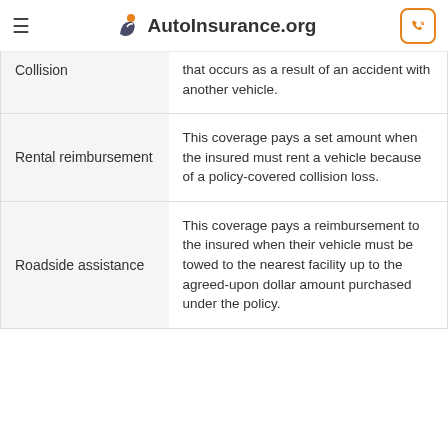AutoInsurance.org
| Coverage Type | Description |
| --- | --- |
| Collision | that occurs as a result of an accident with another vehicle. |
| Rental reimbursement | This coverage pays a set amount when the insured must rent a vehicle because of a policy-covered collision loss. |
| Roadside assistance | This coverage pays a reimbursement to the insured when their vehicle must be towed to the nearest facility up to the agreed-upon dollar amount purchased under the policy. |